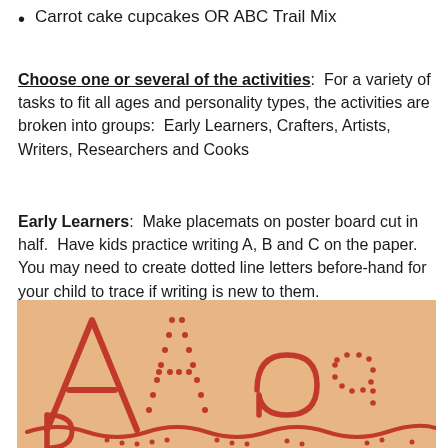Carrot cake cupcakes OR ABC Trail Mix
Choose one or several of the activities:  For a variety of tasks to fit all ages and personality types, the activities are broken into groups:  Early Learners, Crafters, Artists, Writers, Researchers and Cooks
Early Learners:  Make placemats on poster board cut in half.  Have kids practice writing A, B and C on the paper.  You may need to create dotted line letters before-hand for your child to trace if writing is new to them.
[Figure (photo): A photo of a child's letter practice on paper or poster board, showing hand-drawn letters A, a, and what appears to be B or P in red marker, along with dotted letter outlines for tracing practice.]